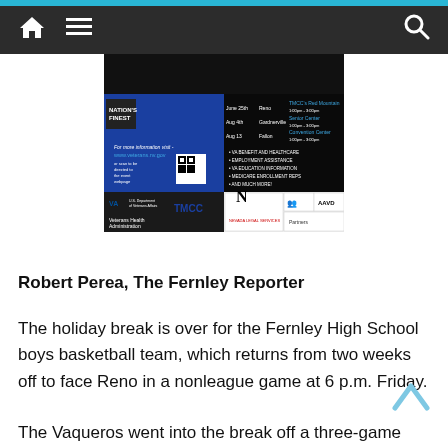Navigation bar with home icon, menu icon, and search icon
[Figure (infographic): Veterans services event advertisement featuring Nation's Finest, Nevada Legal Services, TMCC, Veterans Health Administration, AAVD logos. Lists dates and locations for events in Reno (June 29th at TMCC's Red Mountain, 1:00pm-3:00pm), Gardnerville (Aug 4th at Senior Center, 1:00pm-3:00pm), Fallon (Aug 13 at Convention Center, 1:00pm-3:00pm). Services include VA Benefit and Healthcare, Employment Assistance, VA Education Information, Medicare Enrollment Reps, and Much More. Website: www.veterans.nv.gov, Phone: 775-777-1000]
Robert Perea, The Fernley Reporter
The holiday break is over for the Fernley High School boys basketball team, which returns from two weeks off to face Reno in a nonleague game at 6 p.m. Friday.
The Vaqueros went into the break off a three-game